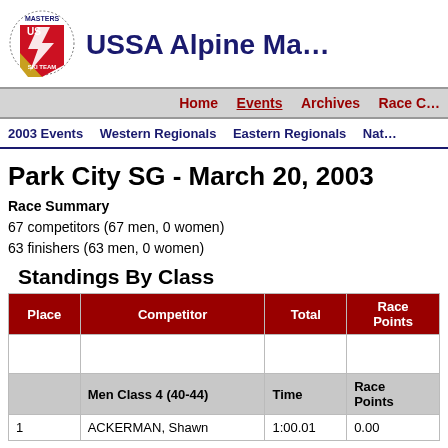[Figure (logo): Masters US Ski Team logo with red shield and lightning bolt]
USSA Alpine Ma...
Home | Events | Archives | Race C...
2003 Events | Western Regionals | Eastern Regionals | Nat...
Park City SG - March 20, 2003
Race Summary
67 competitors (67 men, 0 women)
63 finishers (63 men, 0 women)
Standings By Class
| Place | Competitor | Total | Race Points |
| --- | --- | --- | --- |
|  |  |  |  |
|  | Men Class 4 (40-44) | Time | Race Points |
| 1 | ACKERMAN, Shawn | 1:00.01 | 0.00 |